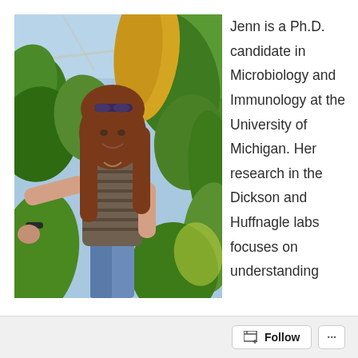[Figure (photo): A young woman with long reddish-brown hair and sunglasses on her head, wearing a striped tank top and jeans, standing in a greenhouse surrounded by lush tropical plants. She is smiling and holding something in her right hand.]
Jenn is a Ph.D. candidate in Microbiology and Immunology at the University of Michigan. Her research in the Dickson and Huffnagle labs focuses on understanding
Follow ...